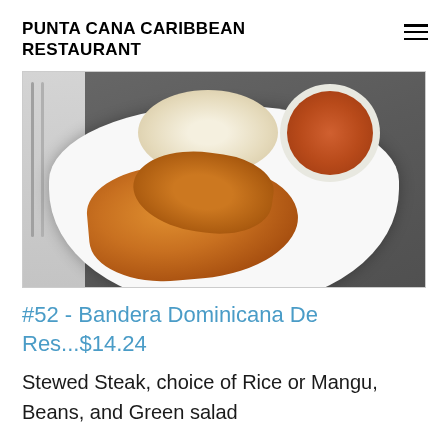PUNTA CANA CARIBBEAN RESTAURANT
[Figure (photo): Food photo showing a white plate with stewed chicken pieces, white rice, and a bowl of red bean stew, on a gray surface with napkin and cutlery on the left]
#52 - Bandera Dominicana De Res...$14.24
Stewed Steak, choice of Rice or Mangu, Beans, and Green salad